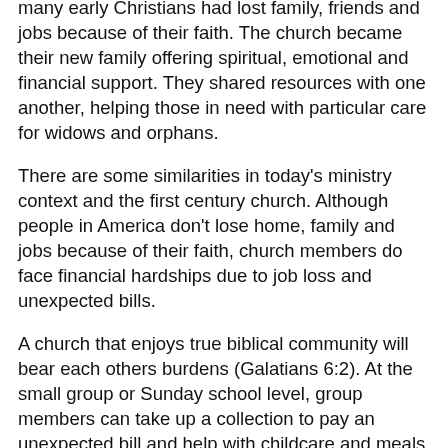many early Christians had lost family, friends and jobs because of their faith. The church became their new family offering spiritual, emotional and financial support. They shared resources with one another, helping those in need with particular care for widows and orphans.
There are some similarities in today's ministry context and the first century church. Although people in America don't lose home, family and jobs because of their faith, church members do face financial hardships due to job loss and unexpected bills.
A church that enjoys true biblical community will bear each others burdens (Galatians 6:2). At the small group or Sunday school level, group members can take up a collection to pay an unexpected bill and help with childcare and meals during a crisis. One Sunday school department held a large yard sale to benefit a class member who, after being laid off, was in danger of losing his home.
Care can be shown for those outside the church as well. One church planter organized fundraisers for a woman in the community whose house had burned down. He also